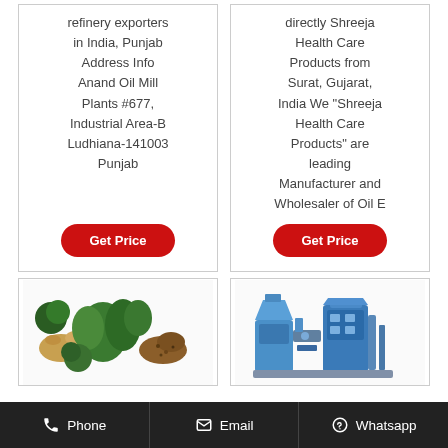refinery exporters in India, Punjab Address Info Anand Oil Mill Plants #677, Industrial Area-B Ludhiana-141003 Punjab
Get Price
directly Shreeja Health Care Products from Surat, Gujarat, India We "Shreeja Health Care Products" are leading Manufacturer and Wholesaler of Oil E
Get Price
[Figure (photo): Herbs and spices product photo — green leaves, ginger, seeds, powder]
[Figure (photo): Industrial oil extraction machine — blue metal machinery]
Phone   Email   Whatsapp